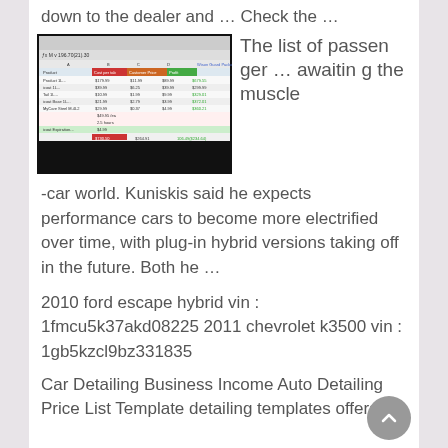down to the dealer and … Check the …
[Figure (screenshot): Screenshot of a spreadsheet showing a Wison Guard Package price list with columns for Product, Cost per tab, Customer Price, and Profit.]
The list of passenger … awaiting the muscle -car world. Kuniskis said he expects performance cars to become more electrified over time, with plug-in hybrid versions taking off in the future. Both he …
2010 ford escape hybrid vin : 1fmcu5k37akd08225 2011 chevrolet k3500 vin : 1gb5kzcl9bz331835
Car Detailing Business Income Auto Detailing Price List Template detailing templates offers